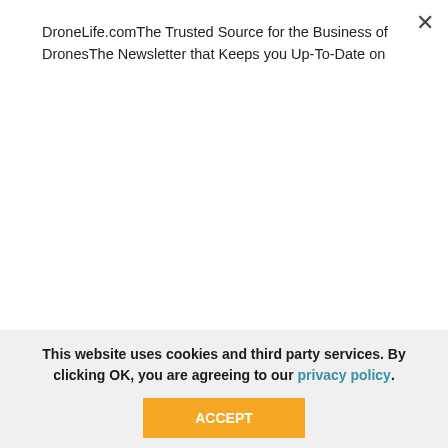DroneLife.comThe Trusted Source for the Business of DronesThe Newsletter that Keeps you Up-To-Date on the Drone World(Press Esc to close this window)
SUBSCRIBE
avid interest in all things tech. He focuses on anti-drone technologies and the public safety sector; police, fire, and search and rescue.
Beginning his career as a journalist in 1996, Jason has since written and edited thousands of engaging news articles, blog posts, press releases and online content.
Email Jason
This website uses cookies and third party services. By clicking OK, you are agreeing to our privacy policy.
ACCEPT